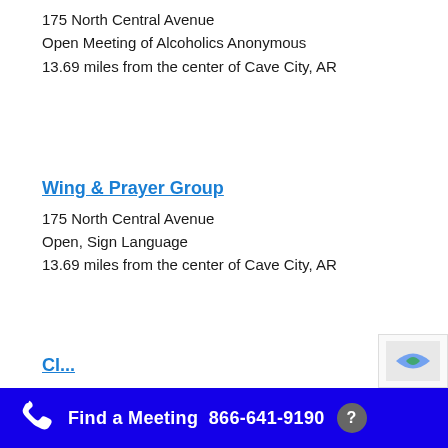175 North Central Avenue
Open Meeting of Alcoholics Anonymous
13.69 miles from the center of Cave City, AR
Wing & Prayer Group
175 North Central Avenue
Open, Sign Language
13.69 miles from the center of Cave City, AR
Cl...
Find a Meeting  866-641-9190